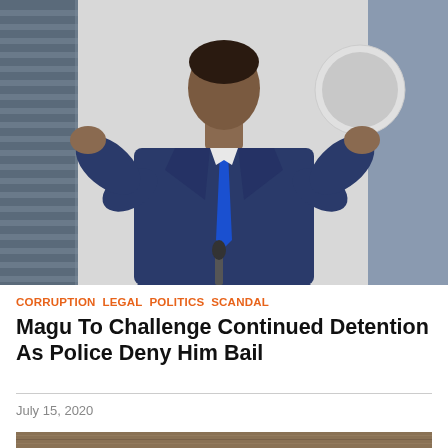[Figure (photo): A man in a dark blue suit with a blue tie, gesturing with both hands raised, appearing to speak at a press conference. A Nigerian government emblem/seal is visible in the background.]
CORRUPTION  LEGAL  POLITICS  SCANDAL
Magu To Challenge Continued Detention As Police Deny Him Bail
July 15, 2020
[Figure (photo): A man in a grey suit standing in front of a wooden panel background.]